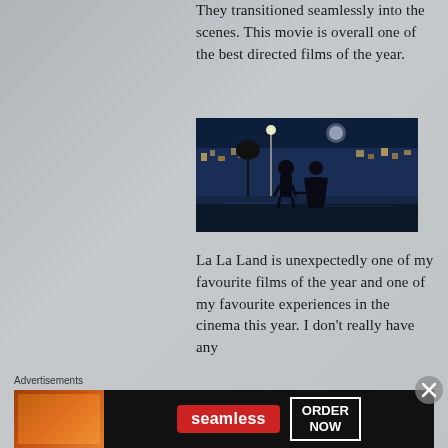They transitioned seamlessly into the scenes. This movie is overall one of the best directed films of the year.
[Figure (photo): Two silhouetted figures holding hands, viewed from behind, standing before a colorful nighttime cityscape scene — a still from the film La La Land.]
La La Land is unexpectedly one of my favourite films of the year and one of my favourite experiences in the cinema this year. I don't really have any
Advertisements
[Figure (photo): Seamless food delivery advertisement banner featuring pizza image on left, Seamless logo in red in center, and ORDER NOW button on right with dark background.]